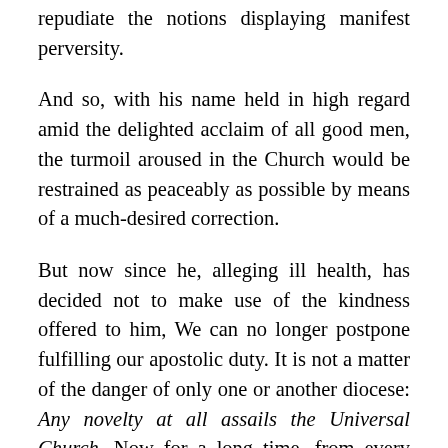repudiate the notions displaying manifest perversity.
And so, with his name held in high regard amid the delighted acclaim of all good men, the turmoil aroused in the Church would be restrained as peaceably as possible by means of a much-desired correction.
But now since he, alleging ill health, has decided not to make use of the kindness offered to him, We can no longer postpone fulfilling our apostolic duty. It is not a matter of the danger of only one or another diocese: Any novelty at all assails the Universal Church. Now for a long time, from every side, the judgment of the supreme Apostolic See has not only been awaited but earnestly